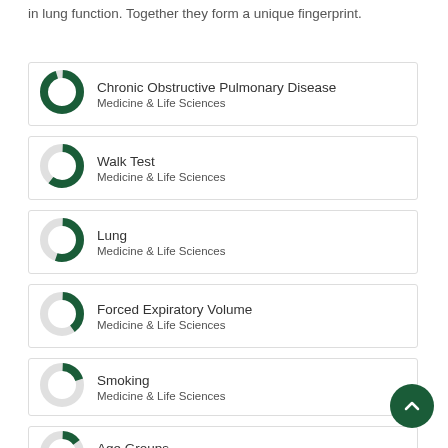in lung function. Together they form a unique fingerprint.
Chronic Obstructive Pulmonary Disease — Medicine & Life Sciences
Walk Test — Medicine & Life Sciences
Lung — Medicine & Life Sciences
Forced Expiratory Volume — Medicine & Life Sciences
Smoking — Medicine & Life Sciences
Age Groups — Medicine & Life Sciences